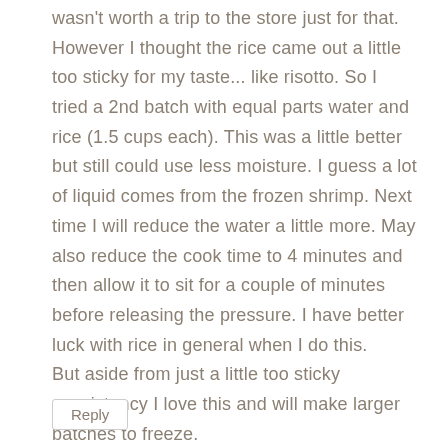wasn't worth a trip to the store just for that. However I thought the rice came out a little too sticky for my taste... like risotto. So I tried a 2nd batch with equal parts water and rice (1.5 cups each). This was a little better but still could use less moisture. I guess a lot of liquid comes from the frozen shrimp. Next time I will reduce the water a little more. May also reduce the cook time to 4 minutes and then allow it to sit for a couple of minutes before releasing the pressure. I have better luck with rice in general when I do this. But aside from just a little too sticky consistency I love this and will make larger batches to freeze.
Reply